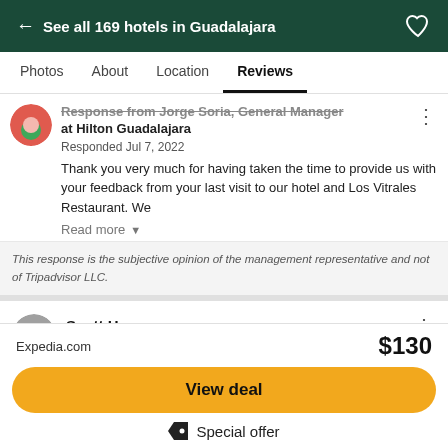← See all 169 hotels in Guadalajara
Photos  About  Location  Reviews
Response from Jorge Soria, General Manager at Hilton Guadalajara
Responded Jul 7, 2022
Thank you very much for having taken the time to provide us with your feedback from your last visit to our hotel and Los Vitrales Restaurant. We
Read more
This response is the subjective opinion of the management representative and not of Tripadvisor LLC.
Scott H
wrote a review Jun 2022
Expedia.com  $130
View deal
Special offer